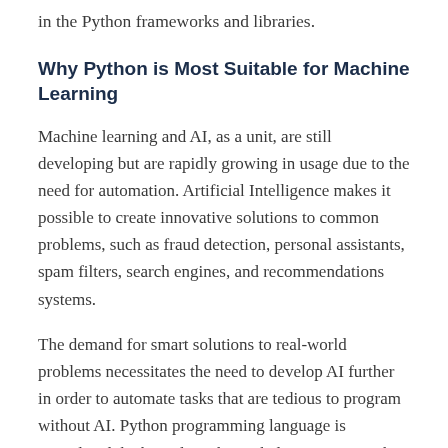in the Python frameworks and libraries.
Why Python is Most Suitable for Machine Learning
Machine learning and AI, as a unit, are still developing but are rapidly growing in usage due to the need for automation. Artificial Intelligence makes it possible to create innovative solutions to common problems, such as fraud detection, personal assistants, spam filters, search engines, and recommendations systems.
The demand for smart solutions to real-world problems necessitates the need to develop AI further in order to automate tasks that are tedious to program without AI. Python programming language is considered the best algorithm to help automate such tasks, and it offers greater simplicity and consistency